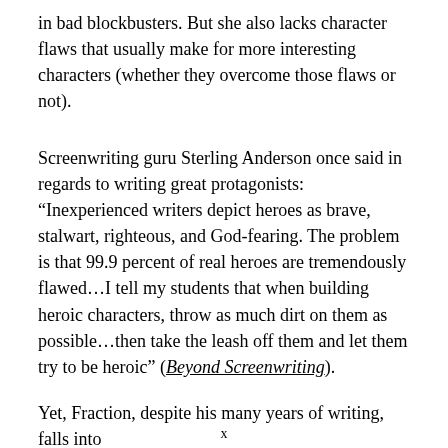in bad blockbusters. But she also lacks character flaws that usually make for more interesting characters (whether they overcome those flaws or not).
Screenwriting guru Sterling Anderson once said in regards to writing great protagonists: “Inexperienced writers depict heroes as brave, stalwart, righteous, and God-fearing. The problem is that 99.9 percent of real heroes are tremendously flawed…I tell my students that when building heroic characters, throw as much dirt on them as possible…then take the leash off them and let them try to be heroic” (Beyond Screenwriting).
Yet, Fraction, despite his many years of writing, falls into
x